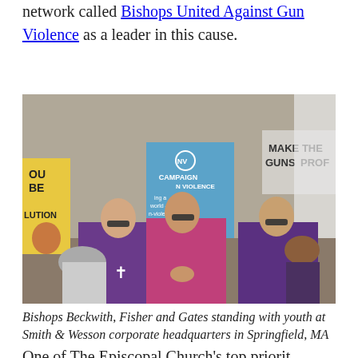network called Bishops United Against Gun Violence as a leader in this cause.
[Figure (photo): Three bishops in purple and pink robes wearing sunglasses, standing at a protest/march. Signs visible include 'CAMPAIGN NONVIOLENCE' and 'GUNS PRO[FIT]'. Other protesters including a woman in a hijab are visible around them.]
Bishops Beckwith, Fisher and Gates standing with youth at Smith & Wesson corporate headquarters in Springfield, MA
One of The Episcopal Church's top priorities is social...